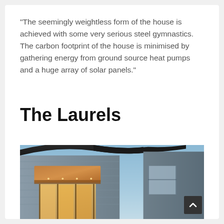“The seemingly weightless form of the house is achieved with some very serious steel gymnastics. The carbon footprint of the house is minimised by gathering energy from ground source heat pumps and a huge array of solar panels.”
The Laurels
[Figure (photo): Exterior photograph of a modern house at dusk, showing curved roofline, stone or slate cladding, large glazed entrance with warm interior lighting, set against a blue twilight sky.]